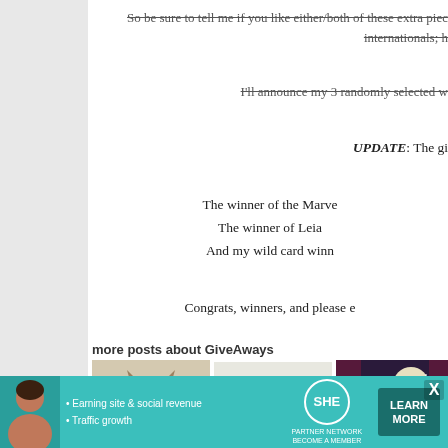So be sure to tell me if you like either/both of these extra pieces - internationals;
I'll announce my 3 randomly selected w
UPDATE: The gi
The winner of the Marve
The winner of Leia
And my wild card winn
Congrats, winners, and please e
more posts about GiveAways
[Figure (photo): Illustration of an owl]
Owlcats, Pumpkin Heads, & Cute
[Figure (photo): Illustration of a dragon and witch]
Dragon Bubbles, Swamp Fey, &
[Figure (photo): Dark atmospheric illustration]
[Figure (infographic): SHE Partner Network advertisement banner with learn more button]